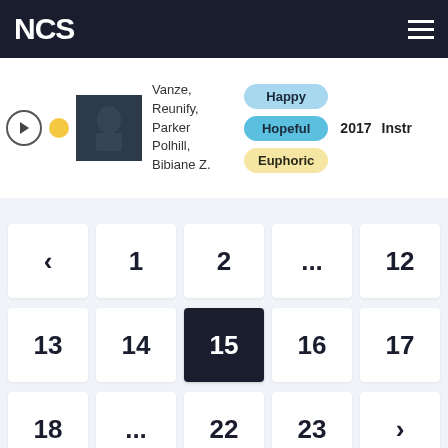NCS
Vanze, Reunify, Parker Polhill, Bibiane Z.
Happy | Hopeful | Euphoric
2017
Instr
‹
1
2
...
12
13
14
15
16
17
18
...
22
23
›